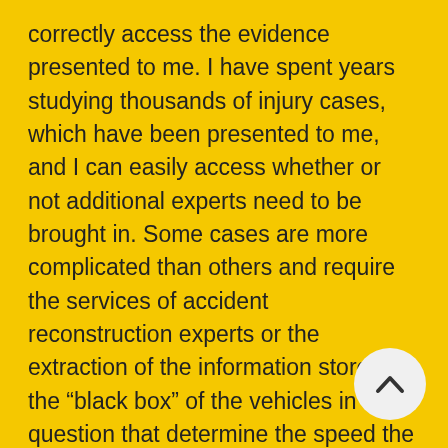correctly access the evidence presented to me. I have spent years studying thousands of injury cases, which have been presented to me, and I can easily access whether or not additional experts need to be brought in. Some cases are more complicated than others and require the services of accident reconstruction experts or the extraction of the information stored on the “black box” of the vehicles in question that determine the speed the vehicle was traveling at the time of or before the accident.
4. Personal injury lawyers have the funds and workforce needed to see you through the claims process. Before enlisting the help